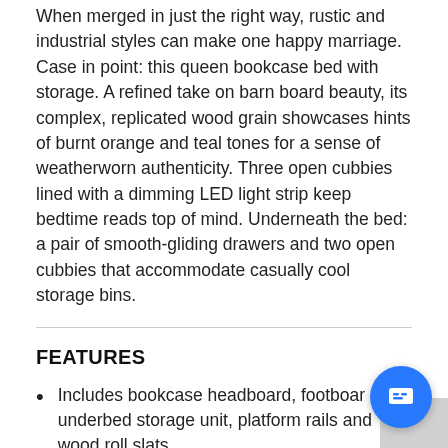When merged in just the right way, rustic and industrial styles can make one happy marriage. Case in point: this queen bookcase bed with storage. A refined take on barn board beauty, its complex, replicated wood grain showcases hints of burnt orange and teal tones for a sense of weatherworn authenticity. Three open cubbies lined with a dimming LED light strip keep bedtime reads top of mind. Underneath the bed: a pair of smooth-gliding drawers and two open cubbies that accommodate casually cool storage bins.
FEATURES
Includes bookcase headboard, footboard, underbed storage unit, platform rails and wood roll slats